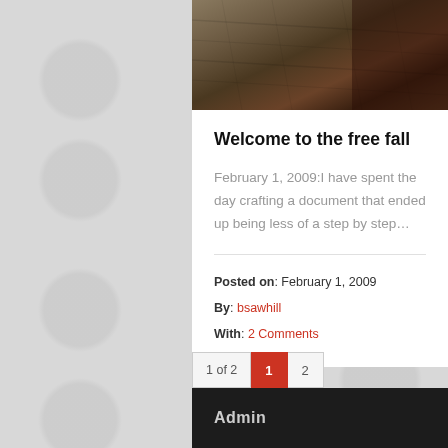[Figure (photo): Partial view of a textured brown/dark fur or animal coat image at the top of the page]
Welcome to the free fall
February 1, 2009:I have spent the day crafting a document that ended up being less of a step by step…
Posted on: February 1, 2009
By: bsawhill
With: 2 Comments
1 of 2  1  2
Admin